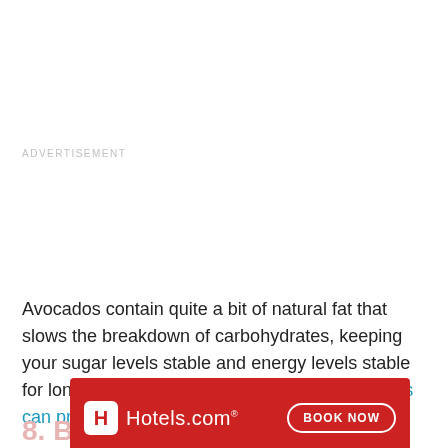ADVERTISEMENT
Avocados contain quite a bit of natural fat that slows the breakdown of carbohydrates, keeping your sugar levels stable and energy levels stable for longer. That's not all either, eating healthy fats can provide a lot of other benefits as well.
[Figure (other): Hotels.com advertisement banner with red background, Hotels.com logo on left with white H icon, and 'BOOK NOW' button on right]
8. B